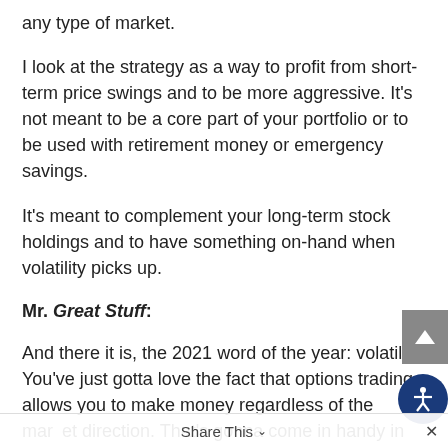any type of market.
I look at the strategy as a way to profit from short-term price swings and to be more aggressive. It’s not meant to be a core part of your portfolio or to be used with retirement money or emergency savings.
It’s meant to complement your long-term stock holdings and to have something on-hand when volatility picks up.
Mr. Great Stuff:
And there it is, the 2021 word of the year: volatility! You’ve just gotta love the fact that options trading allows you to make money regardless of the market direction. That’s gonna come in handy in the next several months.
Share This